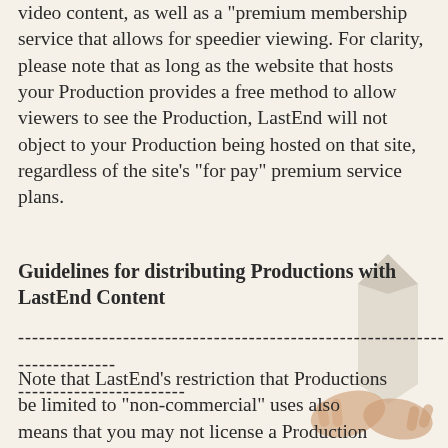video content, as well as a 'premium membership service that allows for speedier viewing. For clarity, please note that as long as the website that hosts your Production provides a free method to allow viewers to see the Production, LastEnd will not object to your Production being hosted on that site, regardless of the site's "for pay" premium service plans.
Guidelines for distributing Productions with LastEnd Content
--------------------------------------------------------------------------- ------------------------
Note that LastEnd's restriction that Productions be limited to "non-commercial" uses also means that you may not license a Production you have created to another company for a fee, or for any other form of